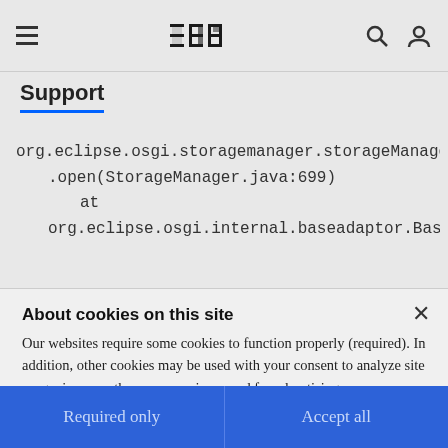IBM Support
org.eclipse.osgi.storagemanager.StorageManager.open(StorageManager.java:699)
    at
org.eclipse.osgi.internal.baseadaptor.BaseStorag...
About cookies on this site
Our websites require some cookies to function properly (required). In addition, other cookies may be used with your consent to analyze site usage, improve the user experience and for advertising.

For more information, please review your Cookie preferences options and IBM's privacy statement.
Required only
Accept all